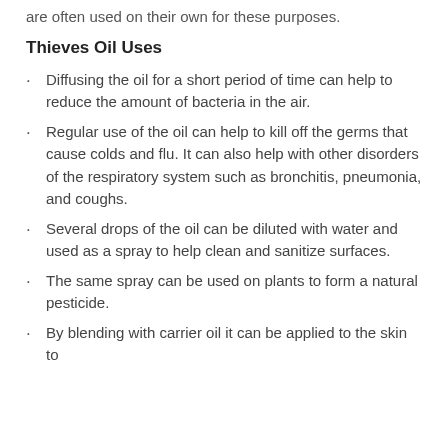are often used on their own for these purposes.
Thieves Oil Uses
Diffusing the oil for a short period of time can help to reduce the amount of bacteria in the air.
Regular use of the oil can help to kill off the germs that cause colds and flu. It can also help with other disorders of the respiratory system such as bronchitis, pneumonia, and coughs.
Several drops of the oil can be diluted with water and used as a spray to help clean and sanitize surfaces.
The same spray can be used on plants to form a natural pesticide.
By blending with carrier oil it can be applied to the skin to